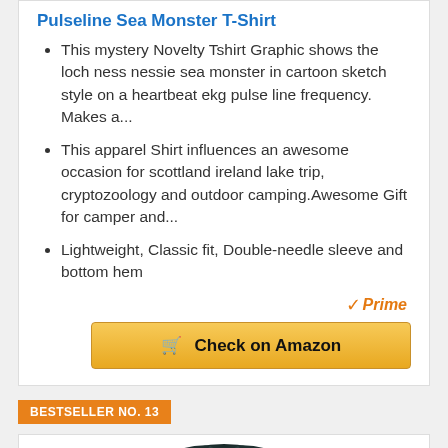Pulseline Sea Monster T-Shirt
This mystery Novelty Tshirt Graphic shows the loch ness nessie sea monster in cartoon sketch style on a heartbeat ekg pulse line frequency. Makes a...
This apparel Shirt influences an awesome occasion for scottland ireland lake trip, cryptozoology and outdoor camping.Awesome Gift for camper and...
Lightweight, Classic fit, Double-needle sleeve and bottom hem
[Figure (logo): Amazon Prime badge with orange checkmark and italic Prime text]
[Figure (other): Check on Amazon button - golden/yellow button with cart icon]
BESTSELLER NO. 13
[Figure (photo): Dark colored t-shirt product photo, partially visible at bottom of page]